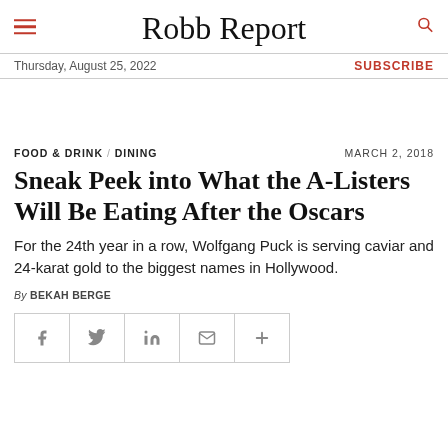Robb Report
Thursday, August 25, 2022
SUBSCRIBE
FOOD & DRINK / DINING
MARCH 2, 2018
Sneak Peek into What the A-Listers Will Be Eating After the Oscars
For the 24th year in a row, Wolfgang Puck is serving caviar and 24-karat gold to the biggest names in Hollywood.
By BEKAH BERGE